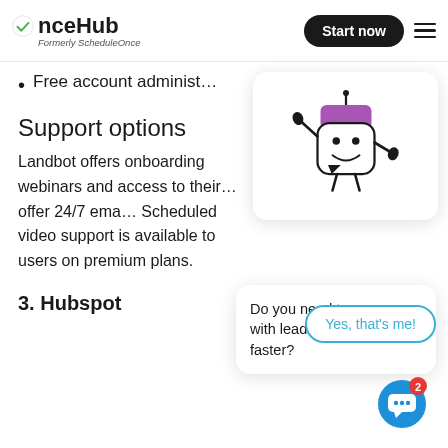OnceHub — Formerly ScheduleOnce | Start now
Free account administ…
Support options
Landbot offers onboarding webinars and access to their… offer 24/7 ema… Scheduled video support is available to users on premium plans.
[Figure (illustration): Landbot chatbot mascot robot waving, white square body with purple hat, illustrated character in a rounded white popup card]
Do you need to engage with leads and customers faster?
Yes, that's me!
[Figure (illustration): Blue chat icon with 3 dots and red badge showing number 2]
3. Hubspot